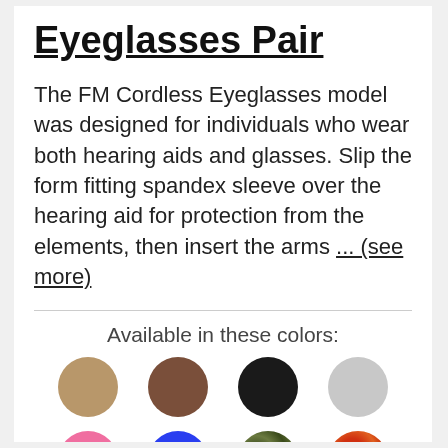Eyeglasses Pair
The FM Cordless Eyeglasses model was designed for individuals who wear both hearing aids and glasses. Slip the form fitting spandex sleeve over the hearing aid for protection from the elements, then insert the arms ... (see more)
[Figure (infographic): Color swatches for available eyeglass sleeve colors: tan/beige, brown, black, silver/gray, pink, blue, camouflage green, orange pattern]